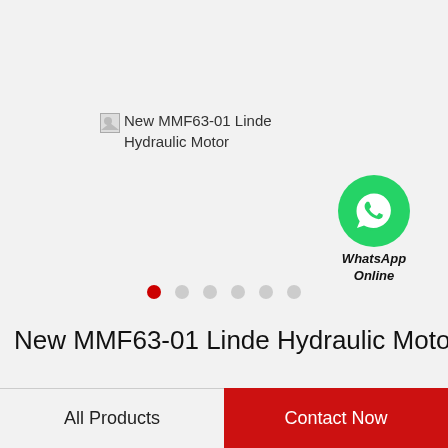[Figure (photo): Broken image placeholder for New MMF63-01 Linde Hydraulic Motor product image with alt text visible]
[Figure (logo): WhatsApp green circle icon with phone handset symbol, labeled WhatsApp Online]
WhatsApp Online
New MMF63-01 Linde Hydraulic Motor
All Products
Contact Now